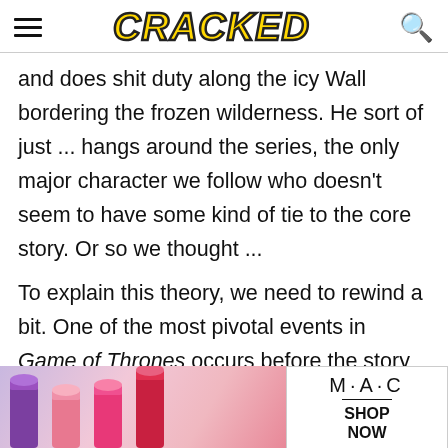CRACKED
and does shit duty along the icy Wall bordering the frozen wilderness. He sort of just ... hangs around the series, the only major character we follow who doesn't seem to have some kind of tie to the core story. Or so we thought ...
To explain this theory, we need to rewind a bit. One of the most pivotal events in Game of Thrones occurs before the story even begins -- a war, triggered by a kidnapping. At the time, the aforementioned Targaryens were still the ruling family. There was a p
[Figure (photo): MAC Cosmetics advertisement banner showing colorful lipsticks (purple, pink, red) with MAC logo and SHOP NOW call to action]